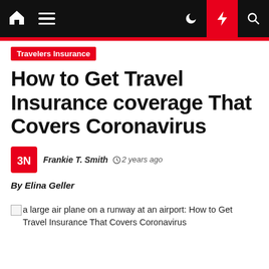Home | Menu | Dark mode | Flash | Search
Travelers Insurance
How to Get Travel Insurance coverage That Covers Coronavirus
Frankie T. Smith  2 years ago
By Elina Geller
[Figure (photo): Broken image placeholder with alt text: a large air plane on a runway at an airport: How to Get Travel Insurance That Covers Coronavirus]